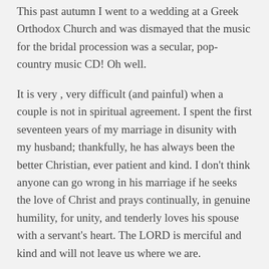This past autumn I went to a wedding at a Greek Orthodox Church and was dismayed that the music for the bridal procession was a secular, pop-country music CD! Oh well.
It is very , very difficult (and painful) when a couple is not in spiritual agreement. I spent the first seventeen years of my marriage in disunity with my husband; thankfully, he has always been the better Christian, ever patient and kind. I don't think anyone can go wrong in his marriage if he seeks the love of Christ and prays continually, in genuine humility, for unity, and tenderly loves his spouse with a servant's heart. The LORD is merciful and kind and will not leave us where we are.